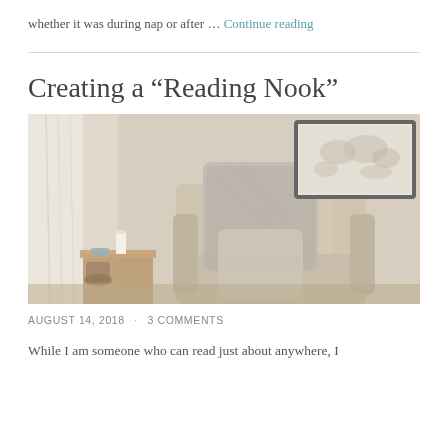whether it was during nap or after … Continue reading
Creating a “Reading Nook”
[Figure (photo): A cozy reading nook featuring a linen armchair with a fluffy grey throw blanket draped over the back, a side table with a candle, sheer curtains beside a window, and a framed world map on the wall.]
AUGUST 14, 2018  ·  3 COMMENTS
While I am someone who can read just about anywhere, I